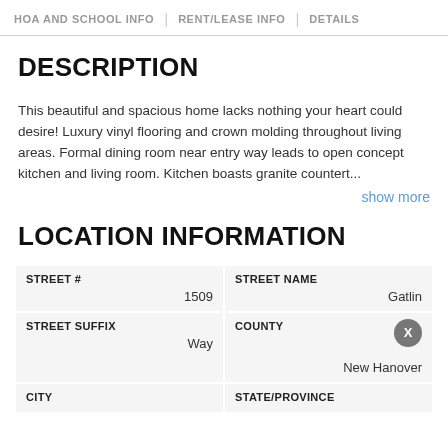HOA AND SCHOOL INFO | RENT/LEASE INFO | DETAILS
DESCRIPTION
This beautiful and spacious home lacks nothing your heart could desire! Luxury vinyl flooring and crown molding throughout living areas. Formal dining room near entry way leads to open concept kitchen and living room. Kitchen boasts granite countert...
show more
LOCATION INFORMATION
| STREET # | STREET NAME | STREET SUFFIX | COUNTY | CITY | STATE/PROVINCE |
| --- | --- | --- | --- | --- | --- |
| 1509 | Gatlin |
| Way | New Hanover |